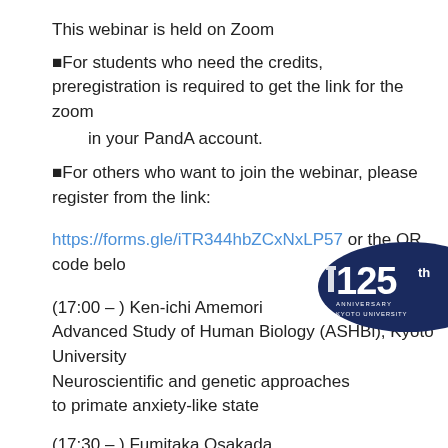This webinar is held on Zoom
●For students who need the credits, preregistration is required to get the link for the zoom
    in your PandA account.
●For others who want to join the webinar, please register from the link:
https://forms.gle/iTR344hbZCxNxLP57 or the QR code below
(17:00 – ) Ken-ichi Amemori
Advanced Study of Human Biology (ASHBi), Kyoto University
Neuroscientific and genetic approaches
to primate anxiety-like state
(17:30 – ) Fumitaka Osakada
Nagoya University
Cell-type-specific targeting strategies with viral
vectors in non-transgenic animals
Continue...
[Figure (logo): Kyoto University 125th Anniversary badge/logo — dark navy blue circular badge with '125th' text and 'ANNIVERSARY KYOTO UNIVERSITY']